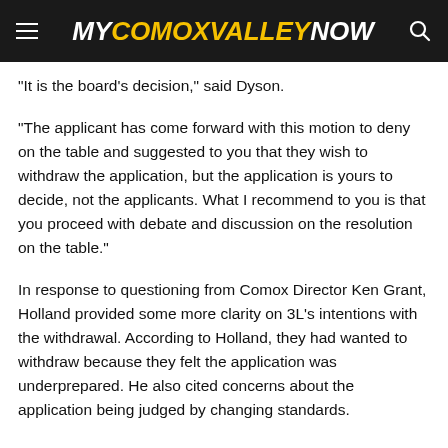MYCOMOXVALLEYNOW
“It is the board’s decision,” said Dyson.
“The applicant has come forward with this motion to deny on the table and suggested to you that they wish to withdraw the application, but the application is yours to decide, not the applicants. What I recommend to you is that you proceed with debate and discussion on the resolution on the table.”
In response to questioning from Comox Director Ken Grant, Holland provided some more clarity on 3L’s intentions with the withdrawal. According to Holland, they had wanted to withdraw because they felt the application was underprepared. He also cited concerns about the application being judged by changing standards.